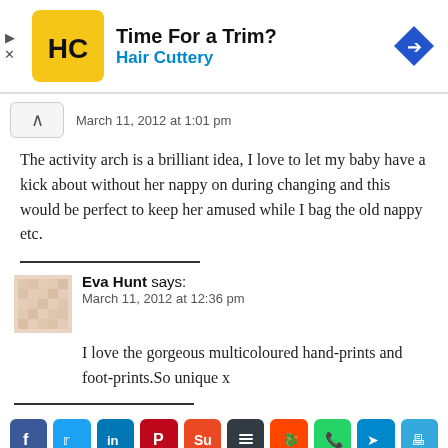[Figure (infographic): Advertisement banner for Hair Cuttery with yellow logo, title 'Time For a Trim?', subtitle 'Hair Cuttery', and a blue direction arrow icon on the right.]
March 11, 2012 at 1:01 pm
The activity arch is a brilliant idea, I love to let my baby have a kick about without her nappy on during changing and this would be perfect to keep her amused while I bag the old nappy etc.
Eva Hunt says:
March 11, 2012 at 12:36 pm
I love the gorgeous multicoloured hand-prints and foot-prints.So unique x
[Figure (infographic): Social media share buttons row: Facebook, Twitter, LinkedIn, Pinterest, StumbleUpon, Buffer, Reddit, WhatsApp, Telegram, Print]